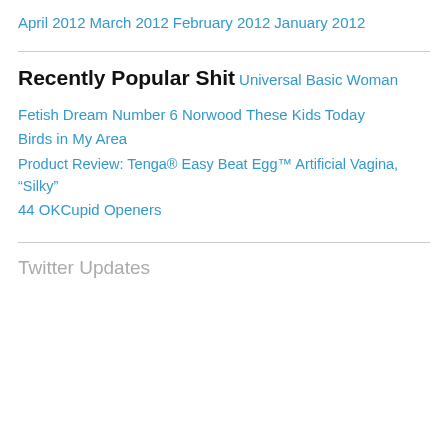April 2012
March 2012
February 2012
January 2012
Recently Popular Shit
Universal Basic Woman
Fetish
Dream Number 6
Norwood
These Kids Today
Birds in My Area
Product Review: Tenga® Easy Beat Egg™ Artificial Vagina, “Silky”
44 OKCupid Openers
Twitter Updates